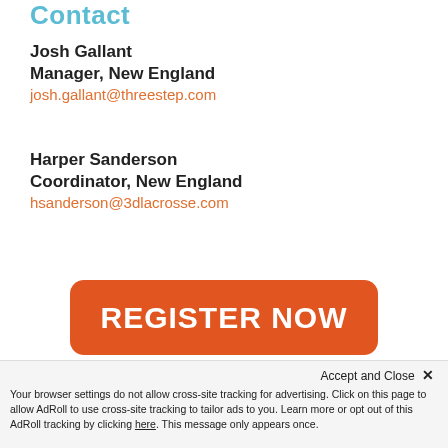Contact
Josh Gallant
Manager, New England
josh.gallant@threestep.com
Harper Sanderson
Coordinator, New England
hsanderson@3dlacrosse.com
[Figure (other): Orange REGISTER NOW button with rounded corners]
After clicking on this button, you will be redirected to our new registration platform on League Apps where you will be prompted to create a new username and password. Thank you for your cooperation!
Accept and Close ×
Your browser settings do not allow cross-site tracking for advertising. Click on this page to allow AdRoll to use cross-site tracking to tailor ads to you. Learn more or opt out of this AdRoll tracking by clicking here. This message only appears once.